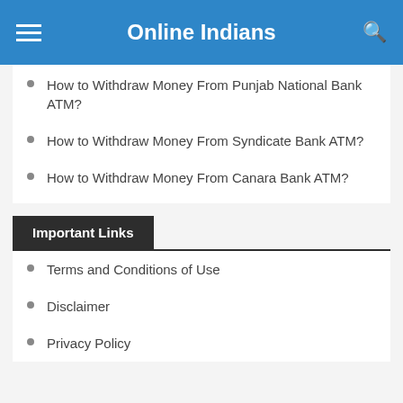Online Indians
How to Withdraw Money From Punjab National Bank ATM?
How to Withdraw Money From Syndicate Bank ATM?
How to Withdraw Money From Canara Bank ATM?
Important Links
Terms and Conditions of Use
Disclaimer
Privacy Policy